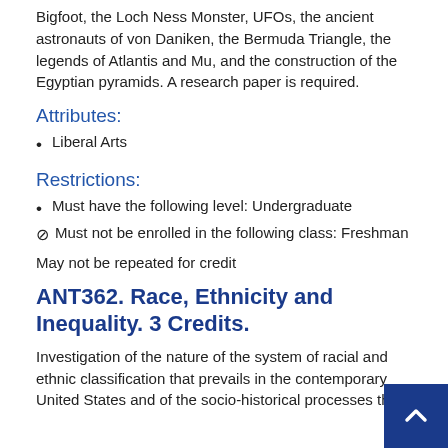Bigfoot, the Loch Ness Monster, UFOs, the ancient astronauts of von Daniken, the Bermuda Triangle, the legends of Atlantis and Mu, and the construction of the Egyptian pyramids. A research paper is required.
Attributes:
Liberal Arts
Restrictions:
Must have the following level: Undergraduate
Must not be enrolled in the following class: Freshman
May not be repeated for credit
ANT362. Race, Ethnicity and Inequality. 3 Credits.
Investigation of the nature of the system of racial and ethnic classification that prevails in the contemporary United States and of the socio-historical processes that